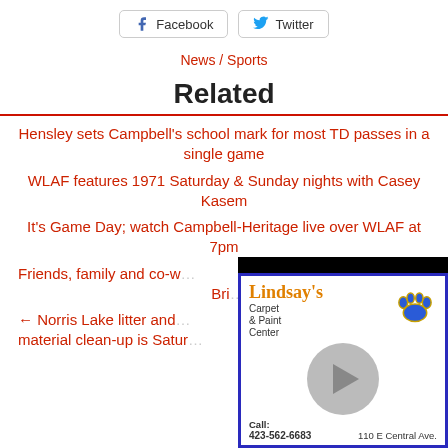[Figure (other): Facebook and Twitter social share buttons]
News / Sports
Related
Hensley sets Campbell’s school mark for most TD passes in a single game
WLAF features 1971 Saturday & Sunday nights with Casey Kasem
It’s Game Day; watch Campbell-Heritage live over WLAF at 7pm
Friends, family and co-w… Bri…
← Norris Lake litter and… material clean-up is Satur…
[Figure (other): Lindsay's Carpet & Paint Center advertisement overlay with play button and paw logo. Call: 423-562-6683, 110 E Central Ave.]